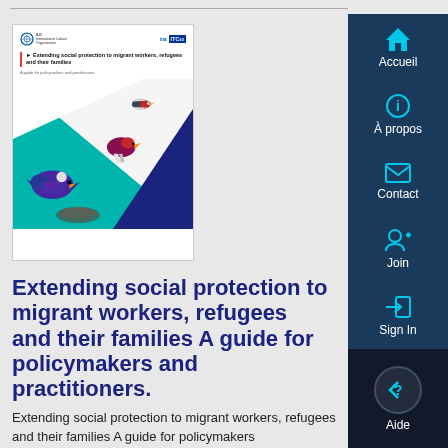[Figure (illustration): Book cover of 'Extending social protection to migrant workers, refugees and their families – A guide for policymakers and practitioners', featuring colorful bird illustrations on a teal and navy geometric background, with ILO and ITC logos at the top.]
Extending social protection to migrant workers, refugees and their families A guide for policymakers and practitioners.
Extending social protection to migrant workers, refugees and their families A guide for policymakers